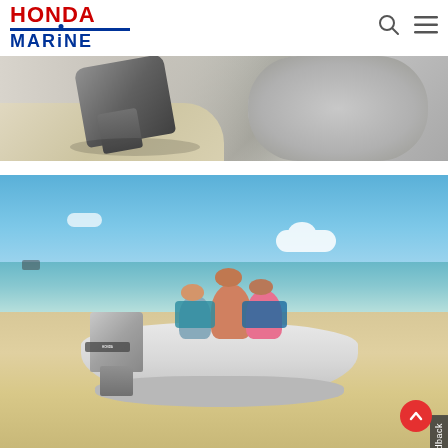Honda Marine
[Figure (photo): Close-up photo of a Honda outboard motor attached to an inflatable dinghy boat on a sandy beach, showing the motor and inflatable tube from a low angle.]
[Figure (photo): A family of three (two children and an adult) sitting in a grey inflatable dinghy boat with a Honda outboard motor on a white sandy tropical beach with clear turquoise water and blue sky in the background.]